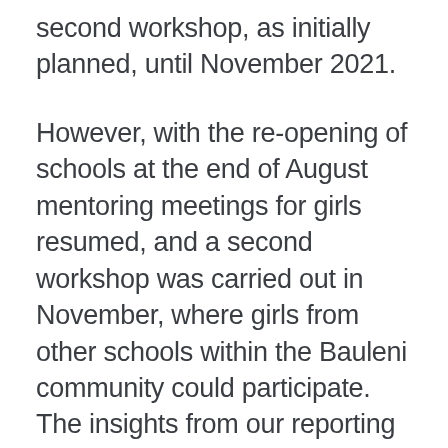second workshop, as initially planned, until November 2021.
However, with the re-opening of schools at the end of August mentoring meetings for girls resumed, and a second workshop was carried out in November, where girls from other schools within the Bauleni community could participate. The insights from our reporting with the Menstrual Cup Ambassadors, as well as the feedback from the first workshop in April provided us with a good baseline for this second workshop.